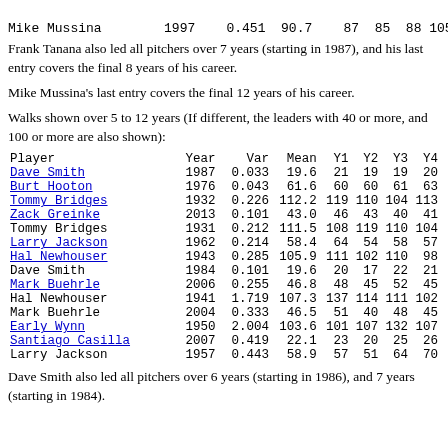| Player | Year | Var | Mean | Y1 | Y2 | Y3 | Y4 |
| --- | --- | --- | --- | --- | --- | --- | --- |
| Mike Mussina | 1997 | 0.451 | 90.7 | 87 | 85 | 88 | 105 |
Frank Tanana also led all pitchers over 7 years (starting in 1987), and his last entry covers the final 8 years of his career.
Mike Mussina's last entry covers the final 12 years of his career.
Walks shown over 5 to 12 years (If different, the leaders with 40 or more, and 100 or more are also shown):
| Player | Year | Var | Mean | Y1 | Y2 | Y3 | Y4 |
| --- | --- | --- | --- | --- | --- | --- | --- |
| Dave Smith | 1987 | 0.033 | 19.6 | 21 | 19 | 19 | 20 |
| Burt Hooton | 1976 | 0.043 | 61.6 | 60 | 60 | 61 | 63 |
| Tommy Bridges | 1932 | 0.226 | 112.2 | 119 | 110 | 104 | 113 |
| Zack Greinke | 2013 | 0.101 | 43.0 | 46 | 43 | 40 | 41 |
| Tommy Bridges | 1931 | 0.212 | 111.5 | 108 | 119 | 110 | 104 |
| Larry Jackson | 1962 | 0.214 | 58.4 | 64 | 54 | 58 | 57 |
| Hal Newhouser | 1943 | 0.285 | 105.9 | 111 | 102 | 110 | 98 |
| Dave Smith | 1984 | 0.101 | 19.6 | 20 | 17 | 22 | 21 |
| Mark Buehrle | 2006 | 0.255 | 46.8 | 48 | 45 | 52 | 45 |
| Hal Newhouser | 1941 | 1.719 | 107.3 | 137 | 114 | 111 | 102 |
| Mark Buehrle | 2004 | 0.333 | 46.5 | 51 | 40 | 48 | 45 |
| Early Wynn | 1950 | 2.004 | 103.6 | 101 | 107 | 132 | 107 |
| Santiago Casilla | 2007 | 0.419 | 22.1 | 23 | 20 | 25 | 26 |
| Larry Jackson | 1957 | 0.443 | 58.9 | 57 | 51 | 64 | 70 |
Dave Smith also led all pitchers over 6 years (starting in 1986), and 7 years (starting in 1984).